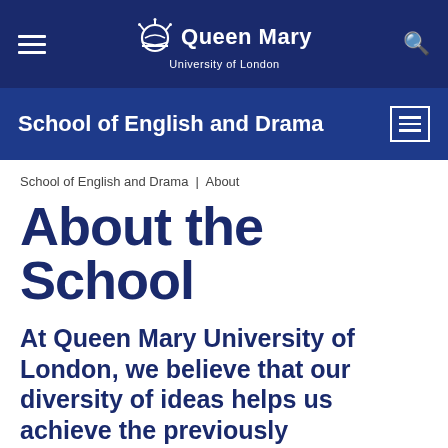Queen Mary University of London
School of English and Drama
School of English and Drama | About
About the School
At Queen Mary University of London, we believe that our diversity of ideas helps us achieve the previously